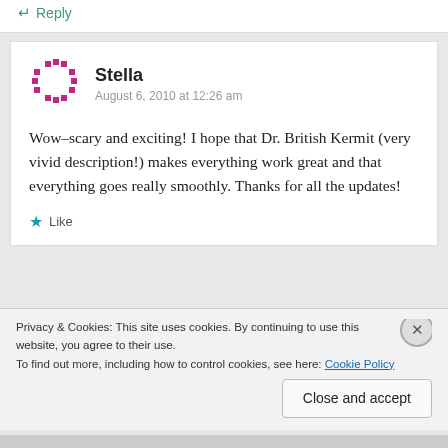↵ Reply
[Figure (illustration): Dashed circle avatar placeholder in pink/magenta color for user Stella]
Stella
August 6, 2010 at 12:26 am
Wow–scary and exciting! I hope that Dr. British Kermit (very vivid description!) makes everything work great and that everything goes really smoothly. Thanks for all the updates!
★ Like
Privacy & Cookies: This site uses cookies. By continuing to use this website, you agree to their use. To find out more, including how to control cookies, see here: Cookie Policy
Close and accept